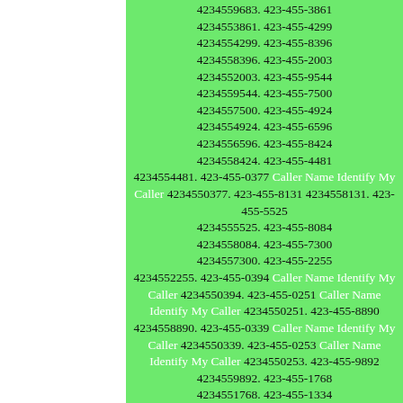4234559683. 423-455-3861 4234553861. 423-455-4299 4234554299. 423-455-8396 4234558396. 423-455-2003 4234552003. 423-455-9544 4234559544. 423-455-7500 4234557500. 423-455-4924 4234554924. 423-455-6596 4234556596. 423-455-8424 4234558424. 423-455-4481 4234554481. 423-455-0377 Caller Name Identify My Caller 4234550377. 423-455-8131 4234558131. 423-455-5525 4234555525. 423-455-8084 4234558084. 423-455-7300 4234557300. 423-455-2255 4234552255. 423-455-0394 Caller Name Identify My Caller 4234550394. 423-455-0251 Caller Name Identify My Caller 4234550251. 423-455-8890 4234558890. 423-455-0339 Caller Name Identify My Caller 4234550339. 423-455-0253 Caller Name Identify My Caller 4234550253. 423-455-9892 4234559892. 423-455-1768 4234551768. 423-455-1334